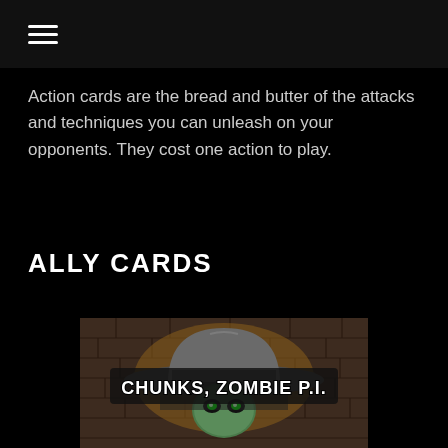≡
Action cards are the bread and butter of the attacks and techniques you can unleash on your opponents. They cost one action to play.
ALLY CARDS
[Figure (illustration): Illustrated card showing a zombie character wearing a fedora hat with text 'CHUNKS, ZOMBIE P.I.' — a cartoon zombie detective with glowing eyes peering under the brim of a grey hat against a brick wall background.]